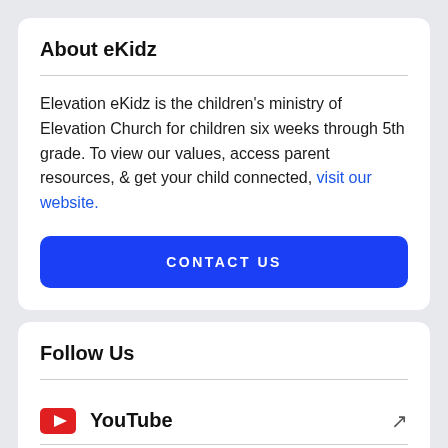About eKidz
Elevation eKidz is the children's ministry of Elevation Church for children six weeks through 5th grade. To view our values, access parent resources, & get your child connected, visit our website.
CONTACT US
Follow Us
YouTube